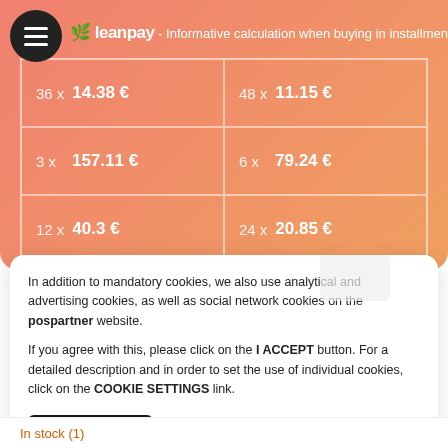[Figure (screenshot): Leanpay installment calculator widget showing 6 installment options in a 2-column grid on a coral/salmon gradient background]
| Installments | Amount |
| --- | --- |
| 36 x | 14.38 € | 48 x | 11.15 € |
| 3 x | 157.11 € | 6 x | 79.24 € |
| 12 x | 40.3 € | 24 x | 20.85 € |
In addition to mandatory cookies, we also use analytical and advertising cookies, as well as social network cookies on the pospartner website.
If you agree with this, please click on the I ACCEPT button. For a detailed description and in order to set the use of individual cookies, click on the COOKIE SETTINGS link.